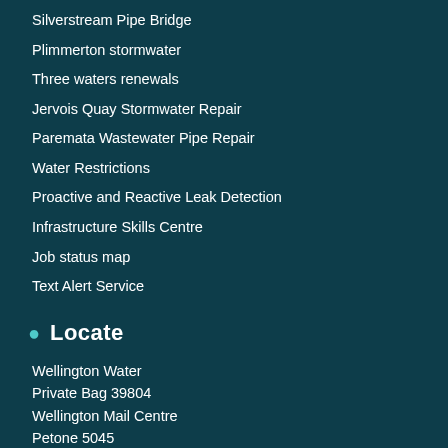Silverstream Pipe Bridge
Plimmerton stormwater
Three waters renewals
Jervois Quay Stormwater Repair
Paremata Wastewater Pipe Repair
Water Restrictions
Proactive and Reactive Leak Detection
Infrastructure Skills Centre
Job status map
Text Alert Service
Locate
Wellington Water
Private Bag 39804
Wellington Mail Centre
Petone 5045
New Zealand